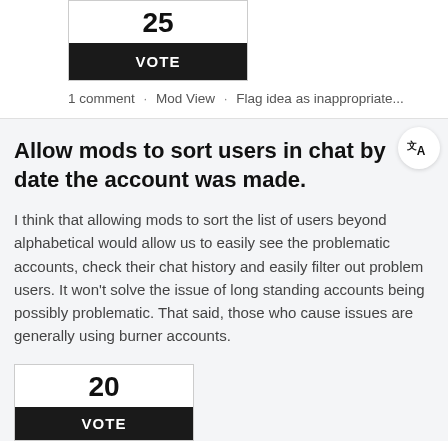25
VOTE
1 comment · Mod View · Flag idea as inappropriate...
Allow mods to sort users in chat by date the account was made.
I think that allowing mods to sort the list of users beyond alphabetical would allow us to easily see the problematic accounts, check their chat history and easily filter out problem users. It won't solve the issue of long standing accounts being possibly problematic. That said, those who cause issues are generally using burner accounts.
20
VOTE